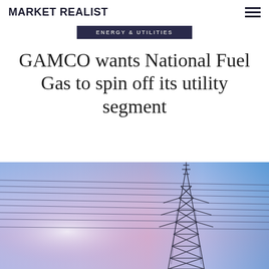MARKET REALIST
ENERGY & UTILITIES
GAMCO wants National Fuel Gas to spin off its utility segment
[Figure (photo): Electrical power transmission tower (pylon) against a blue sky with pink and purple hues, with power lines visible. Dramatic low-angle perspective.]